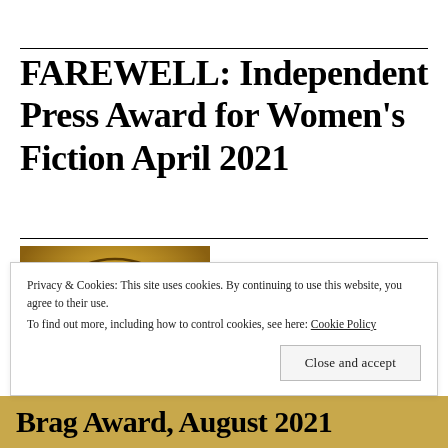FAREWELL: Independent Press Award for Women's Fiction April 2021
[Figure (photo): Gold Independent Press Award winner 2021 medal/badge with an open book graphic and circular text reading 'WINNER 2021 • INDEPENDENT PRESS AWARD']
Privacy & Cookies: This site uses cookies. By continuing to use this website, you agree to their use.
To find out more, including how to control cookies, see here: Cookie Policy
Close and accept
Brag Award, August 2021